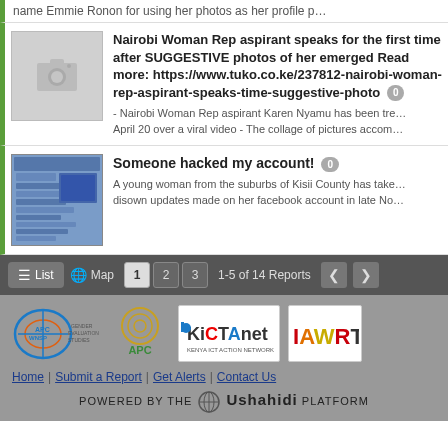name Emmie Ronon for using her photos as her profile p…
[Figure (screenshot): News card with placeholder camera thumbnail and article title: Nairobi Woman Rep aspirant speaks for the first time after SUGGESTIVE photos of her emerged. Read more: https://www.tuko.co.ke/237812-nairobi-woman-rep-aspirant-speaks-time-suggestive-photo. Snippet: - Nairobi Woman Rep aspirant Karen Nyamu has been tre… April 20 over a viral video - The collage of pictures accom…]
[Figure (screenshot): News card with screenshot thumbnail showing a Facebook page, titled: Someone hacked my account! Snippet: A young woman from the suburbs of Kisii County has take… disown updates made on her facebook account in late No…]
[Figure (screenshot): Pagination bar showing List and Map view options, page numbers 1 2 3, 1-5 of 14 Reports, and navigation arrows]
[Figure (logo): Footer with APC WNSP logo, APC logo, KICTAnet logo, IAWRT logo, navigation links (Home, Submit a Report, Get Alerts, Contact Us), and Powered by the Ushahidi Platform text]